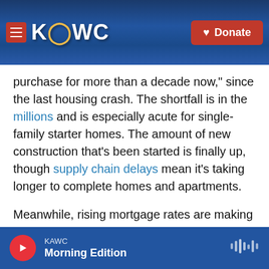[Figure (screenshot): KAWC radio website header with logo and Donate button over a blue nighttime photo background]
purchase for more than a decade now," since the last housing crash. The shortfall is in the millions and is especially acute for single-family starter homes. The amount of new construction that's been started is finally up, though supply chain delays mean it's taking longer to complete homes and apartments.
Meanwhile, rising mortgage rates are making it more expensive to buy a home, forcing many to stay in the rental market. And adding to all of this, the massive cohort of millennials hitting their late 20s and early 30s are eager to move out on their
[Figure (screenshot): KAWC audio player bar at bottom showing Morning Edition]